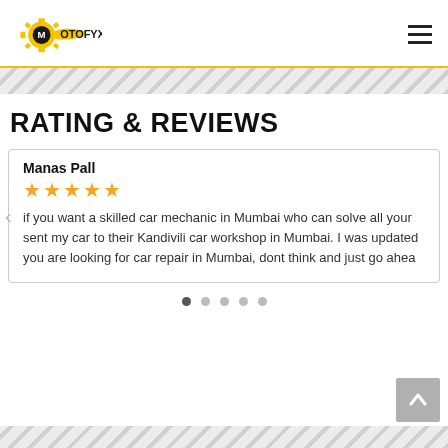MOTOFYX
RATING & REVIEWS
Manas Pall
★★★★★
if you want a skilled car mechanic in Mumbai who can solve all your sent my car to their Kandivili car workshop in Mumbai. I was updated you are looking for car repair in Mumbai, dont think and just go ahea